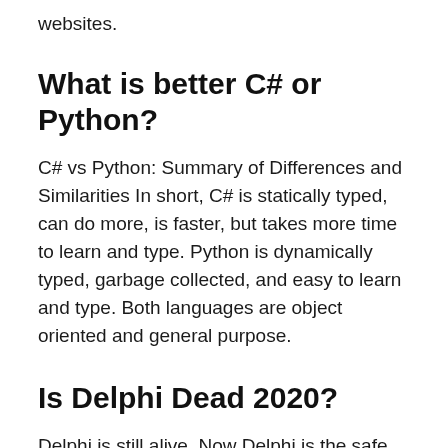websites.
What is better C# or Python?
C# vs Python: Summary of Differences and Similarities In short, C# is statically typed, can do more, is faster, but takes more time to learn and type. Python is dynamically typed, garbage collected, and easy to learn and type. Both languages are object oriented and general purpose.
Is Delphi Dead 2020?
Delphi is still alive. Now Delphi is the safe hands of Embarcadero and they have started to make